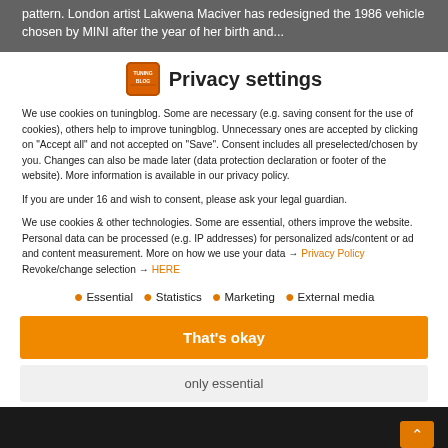pattern. London artist Lakwena Maciver has redesigned the 1986 vehicle chosen by MINI after the year of her birth and...
Privacy settings
We use cookies on tuningblog. Some are necessary (e.g. saving consent for the use of cookies), others help to improve tuningblog. Unnecessary ones are accepted by clicking on "Accept all" and not accepted on "Save". Consent includes all preselected/chosen by you. Changes can also be made later (data protection declaration or footer of the website). More information is available in our privacy policy.
If you are under 16 and wish to consent, please ask your legal guardian.
We use cookies & other technologies. Some are essential, others improve the website. Personal data can be processed (e.g. IP addresses) for personalized ads/content or ad and content measurement. More on how we use your data → Privacy Policy Revoke/change selection → HERE
Essential
Statistics
Marketing
External media
That's okay
only essential